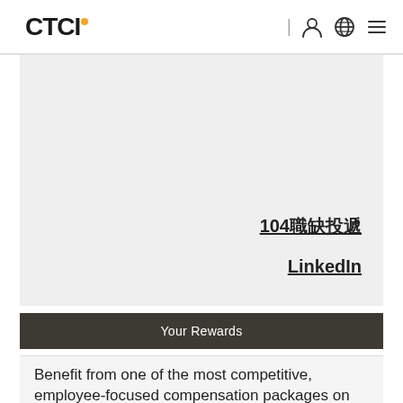[Figure (logo): CTCI company logo with orange dot above letter I]
[Figure (other): Navigation icons: vertical bar separator, person/user icon, globe/language icon, hamburger menu icon]
[Figure (other): Large gray rectangular content area with two underlined text links at bottom right: '104職缺投遞' and 'LinkedIn']
104職缺投遞
LinkedIn
Your Rewards
Benefit from one of the most competitive, employee-focused compensation packages on the